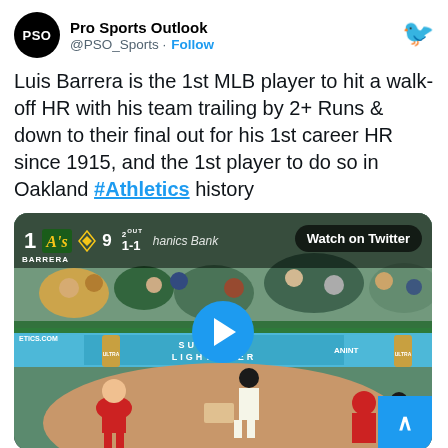Pro Sports Outlook @PSO_Sports · Follow
Luis Barrera is the 1st MLB player to hit a walk-off HR with his team trailing by 2+ Runs & down to their final out for his 1st career HR since 1915, and the 1st player to do so in Oakland #Athletics history
[Figure (screenshot): Baseball game video thumbnail showing a batter at home plate with pitcher in red uniform, fans in stands, Oakland Athletics scoreboard showing 1 out, score 9, count 1-1, 2 OUT, Mechanics Bank sponsor, Watch on Twitter button overlay, and blue play button in center]